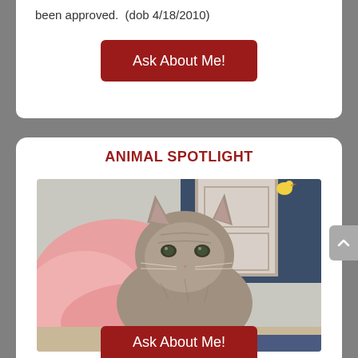been approved.  (dob 4/18/2010)
Ask About Me!
ANIMAL SPOTLIGHT
[Figure (photo): A gray tabby cat resting on a pink blanket, looking at the camera with a calm expression. Background shows a door and a blue wall.]
Ask About Me!